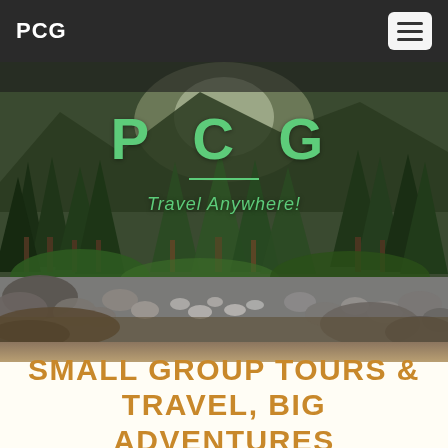PCG
[Figure (photo): Forest and rocky riverbed nature scene used as hero background image with tall evergreen trees, boulders, and mountains in background]
P C G
Travel Anywhere!
SMALL GROUP TOURS & TRAVEL, BIG ADVENTURES